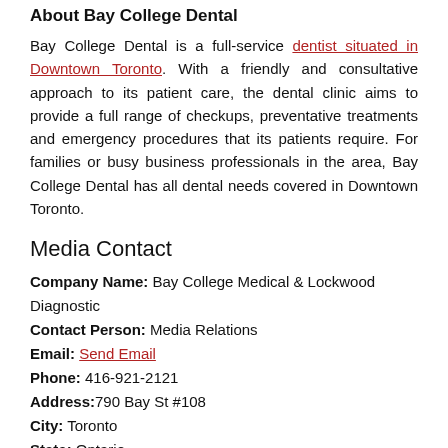About Bay College Dental
Bay College Dental is a full-service dentist situated in Downtown Toronto. With a friendly and consultative approach to its patient care, the dental clinic aims to provide a full range of checkups, preventative treatments and emergency procedures that its patients require. For families or busy business professionals in the area, Bay College Dental has all dental needs covered in Downtown Toronto.
Media Contact
Company Name: Bay College Medical & Lockwood Diagnostic
Contact Person: Media Relations
Email: Send Email
Phone: 416-921-2121
Address: 790 Bay St #108
City: Toronto
State: Ontario